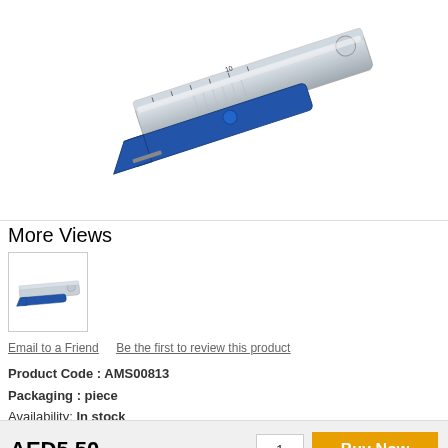[Figure (photo): Close-up photo of a blue and chrome metal stapler, angled perspective showing top and side, with a measurement scale on top.]
More Views
[Figure (photo): Small thumbnail image of the same blue and chrome stapler, full side view.]
Email to a Friend    Be the first to review this product
Product Code : AMS00813
Packaging : piece
Availability: In stock
AED5.50
1
Buy Now